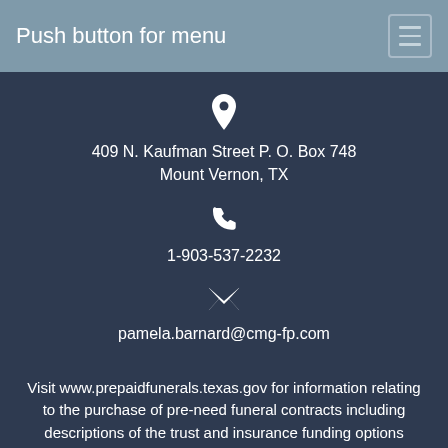Push button for menu
409 N. Kaufman Street P. O. Box 748
Mount Vernon, TX
1-903-537-2232
pamela.barnard@cmg-fp.com
Visit www.prepaidfunerals.texas.gov for information relating to the purchase of pre-need funeral contracts including descriptions of the trust and insurance funding options available under state law.